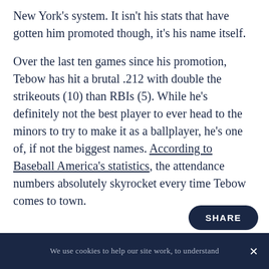New York's system. It isn't his stats that have gotten him promoted though, it's his name itself.
Over the last ten games since his promotion, Tebow has hit a brutal .212 with double the strikeouts (10) than RBIs (5). While he's definitely not the best player to ever head to the minors to try to make it as a ballplayer, he's one of, if not the biggest names. According to Baseball America's statistics, the attendance numbers absolutely skyrocket every time Tebow comes to town.
We use cookies to help our site work, to understand